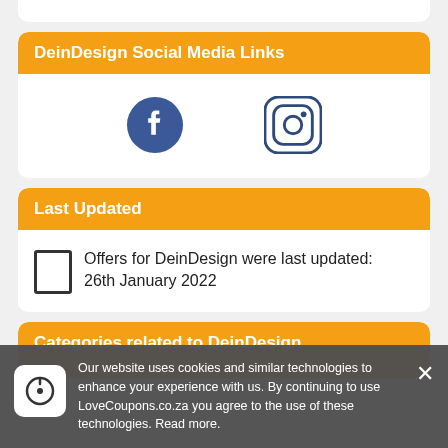DeinDesign Social Media Links
[Figure (illustration): Facebook and Instagram social media icons side by side]
Last Updated
Offers for DeinDesign were last updated: 26th January 2022
Categories related to DeinDesign
Our website uses cookies and similar technologies to enhance your experience with us. By continuing to use LoveCoupons.co.za you agree to the use of these technologies. Read more.